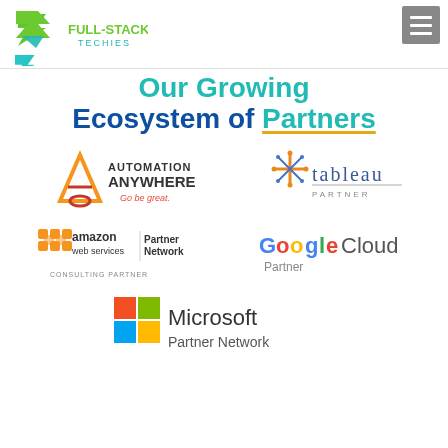[Figure (logo): Full-Stack Techies logo: green arrow/chevron icon with green and teal text 'FULL-STACK TECHIES']
[Figure (screenshot): Gray hamburger menu button (three horizontal lines)]
Our Growing Ecosystem of Partners
[Figure (logo): Automation Anywhere logo: orange triangle/A icon with text 'AUTOMATION ANYWHERE Go be great.']
[Figure (logo): Tableau Partner logo: blue plus/cross sparkle icon with text 'tableau PARTNER']
[Figure (logo): Amazon Web Services Partner Network Consulting Partner logo]
[Figure (logo): Google Cloud Partner logo]
[Figure (logo): Microsoft Partner Network logo with colorful four-square Windows icon]